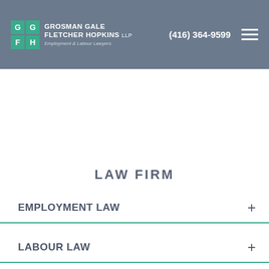Grosman Gale Fletcher Hopkins LLP — Employment & Labour Lawyers — (416) 364-9599
LAW FIRM
EMPLOYMENT LAW
LABOUR LAW